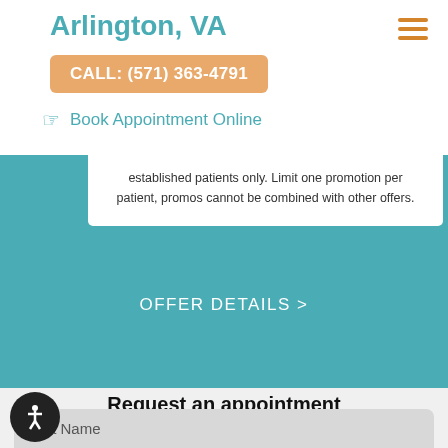Arlington, VA
CALL: (571) 363-4791
Book Appointment Online
established patients only. Limit one promotion per patient, promos cannot be combined with other offers.
OFFER DETAILS >
Request an appointment
First Name
Last Name